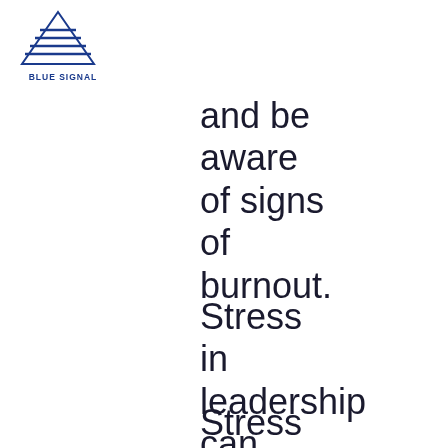[Figure (logo): Blue Signal logo: triangle with horizontal lines and text BLUE SIGNAL below]
and be aware of signs of burnout.
Stress in leadership can lead to more negative effects than